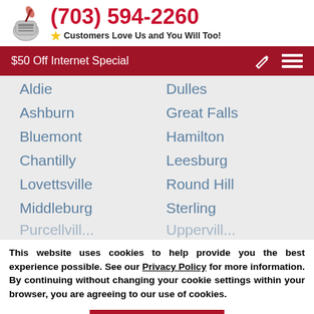(703) 594-2260 — Customers Love Us and You Will Too!
$50 Off Internet Special
Aldie
Dulles
Ashburn
Great Falls
Bluemont
Hamilton
Chantilly
Leesburg
Lovettsville
Round Hill
Middleburg
Sterling
This website uses cookies to help provide you the best experience possible. See our Privacy Policy for more information. By continuing without changing your cookie settings within your browser, you are agreeing to our use of cookies.
ACCEPT